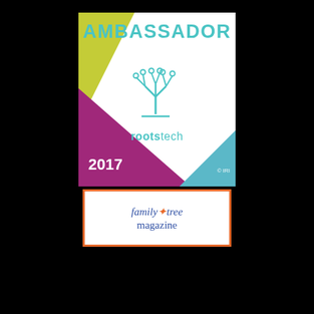[Figure (logo): RootsTech 2017 Ambassador badge. White square badge with teal 'AMBASSADOR' text at top, decorative colored corner triangles (yellow-green top-left, purple bottom-left, teal bottom-right), a teal circuit-tree logo in center, 'rootstech' text in teal below logo, '2017' in white bottom-left, '© IRI' in white bottom-right.]
[Figure (logo): Family Tree Magazine logo badge with orange border. Blue italic text 'family tree' with orange star, 'magazine' below in blue, on white background.]